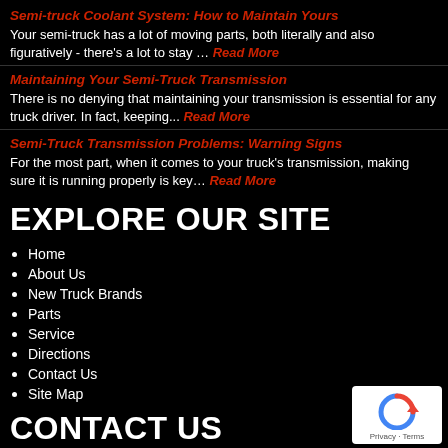Semi-truck Coolant System: How to Maintain Yours
Your semi-truck has a lot of moving parts, both literally and also figuratively - there's a lot to stay … Read More
Maintaining Your Semi-Truck Transmission
There is no denying that maintaining your transmission is essential for any truck driver. In fact, keeping... Read More
Semi-Truck Transmission Problems: Warning Signs
For the most part, when it comes to your truck's transmission, making sure it is running properly is key... Read More
EXPLORE OUR SITE
Home
About Us
New Truck Brands
Parts
Service
Directions
Contact Us
Site Map
CONTACT US
[Figure (logo): Google reCAPTCHA badge with circular arrow icon and Privacy - Terms text]